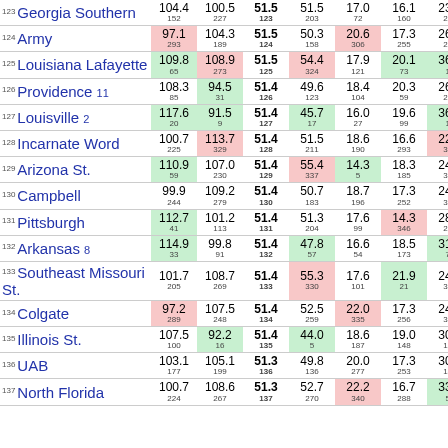| Rank | Team | Off Rtg | Def Rtg | Rank/EFF | Opp EFF | Pace | Opp Pace | Last |
| --- | --- | --- | --- | --- | --- | --- | --- | --- |
| 123 | Georgia Southern | 104.4/152 | 100.5/227 | 51.5/123 | 51.5/203 | 17.0/72 | 16.1/160 | 23.2/294 |
| 124 | Army | 97.1/293 | 104.3/189 | 51.5/124 | 50.3/158 | 20.6/306 | 17.3/255 | 26.4/271 |
| 125 | Louisiana Lafayette | 109.8/65 | 108.9/273 | 51.5/125 | 54.4/324 | 17.9/121 | 20.1/73 | 36.3/16 |
| 126 | Providence 11 | 108.3/85 | 94.5/31 | 51.4/126 | 49.6/123 | 18.4/104 | 20.3/59 | 26.4/270 |
| 127 | Louisville 2 | 117.6/20 | 91.5/9 | 51.4/127 | 45.7/17 | 16.0/27 | 19.6/99 | 36.7/13 |
| 128 | Incarnate Word | 100.7/225 | 113.7/329 | 51.4/128 | 51.5/211 | 18.6/190 | 16.6/293 | 22.2/332 |
| 129 | Arizona St. | 110.9/59 | 107.0/230 | 51.4/129 | 55.4/337 | 14.3/5 | 18.3/185 | 24.4/309 |
| 130 | Campbell | 99.9/244 | 109.2/279 | 51.4/130 | 50.7/183 | 18.7/196 | 17.3/252 | 24.2/319 |
| 131 | Pittsburgh | 112.7/41 | 101.2/113 | 51.4/131 | 51.3/204 | 17.6/99 | 14.3/346 | 28.2/209 |
| 132 | Arkansas 8 | 114.9/33 | 99.8/91 | 51.4/132 | 47.8/57 | 16.6/54 | 18.5/173 | 31.9/75 |
| 133 | Southeast Missouri St. | 101.7/205 | 108.7/269 | 51.4/133 | 55.3/330 | 17.6/101 | 21.9/21 | 24.7/306 |
| 134 | Colgate | 97.2/289 | 107.5/248 | 51.4/134 | 52.5/259 | 22.0/335 | 17.3/256 | 24.8/303 |
| 135 | Illinois St. | 107.5/100 | 92.2/16 | 51.4/135 | 44.0/5 | 18.6/187 | 19.0/148 | 30.4/130 |
| 136 | UAB | 103.1/177 | 105.1/199 | 51.3/136 | 49.8/136 | 20.0/277 | 17.3/253 | 30.0/143 |
| 137 | North Florida | 100.7/224 | 108.6/267 | 51.3/137 | 52.7/270 | 22.2/340 | 16.7/288 | 33.3/52 |